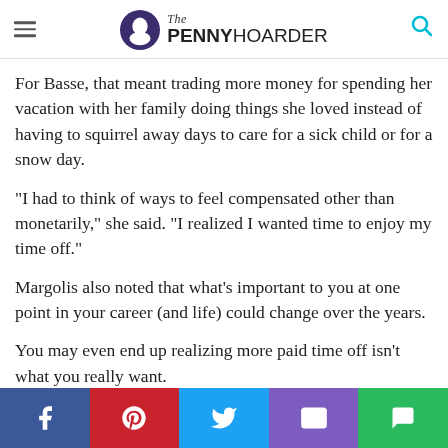The PENNY HOARDER
For Basse, that meant trading more money for spending her vacation with her family doing things she loved instead of having to squirrel away days to care for a sick child or for a snow day.
“I had to think of ways to feel compensated other than monetarily,” she said. “I realized I wanted time to enjoy my time off.”
Margolis also noted that what’s important to you at one point in your career (and life) could change over the years.
You may even end up realizing more paid time off isn’t what you really want.
“As you get along in your career, you may ask if I want to get
[Figure (other): Social share bar with Facebook, Pinterest, Twitter, Email, and Chat buttons]